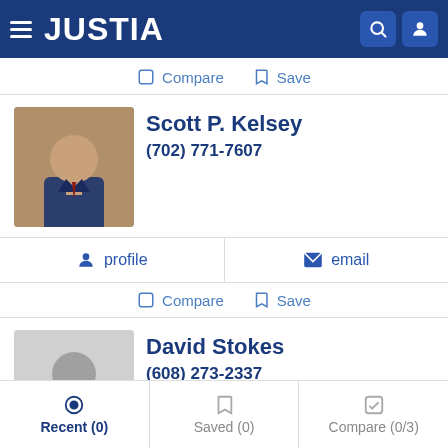JUSTIA
Compare   Save
Scott P. Kelsey
(702) 771-7607
profile   email
Compare   Save
David Stokes
(608) 273-2337
Criminal, DUI & DWI, Estate Planning and Real Estate
profile   email
Recent (0)   Saved (0)   Compare (0/3)